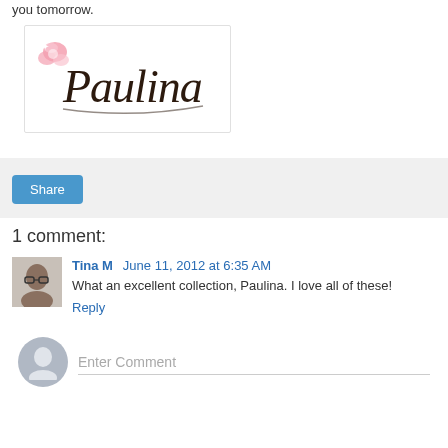you tomorrow.
[Figure (illustration): Decorative signature image reading 'Paulina' in cursive script with pink floral decorations]
[Figure (other): Share button bar with light gray background and a blue 'Share' button]
1 comment:
Tina M  June 11, 2012 at 6:35 AM
What an excellent collection, Paulina. I love all of these!
Reply
Enter Comment